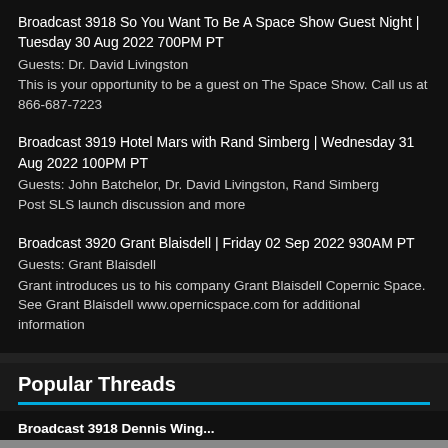Broadcast 3918 So You Want To Be A Space Show Guest Night | Tuesday 30 Aug 2022 700PM PT
Guests: Dr. David Livingston
This is your opportunity to be a guest on The Space Show. Call us at 866-687-7223
Broadcast 3919 Hotel Mars with Rand Simberg | Wednesday 31 Aug 2022 100PM PT
Guests: John Batchelor, Dr. David Livingston, Rand Simberg
Post SLS launch discussion and more
Broadcast 3920 Grant Blaisdell | Friday 02 Sep 2022 930AM PT
Guests: Grant Blaisdell
Grant introduces us to his company Grant Blaisdell Copernic Space. See Grant Blaisdell www.opernicspace.com for additional information
Popular Threads
Broadcast 3918 Dennis Wing...